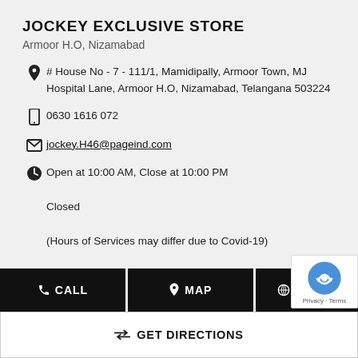JOCKEY EXCLUSIVE STORE
Armoor H.O, Nizamabad
# House No - 7 - 111/1, Mamidipally, Armoor Town, MJ Hospital Lane, Armoor H.O, Nizamabad, Telangana 503224
0630 1616 072
jockey.H46@pageind.com
Open at 10:00 AM, Close at 10:00 PM
Closed
(Hours of Services may differ due to Covid-19)
CALL   MAP   WEBSITE
GET DIRECTIONS